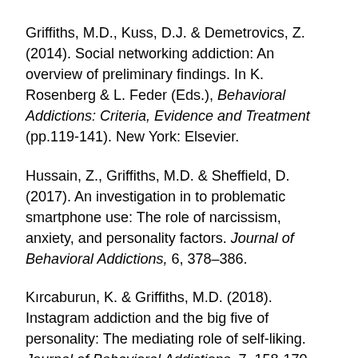Griffiths, M.D., Kuss, D.J. & Demetrovics, Z. (2014). Social networking addiction: An overview of preliminary findings. In K. Rosenberg & L. Feder (Eds.), Behavioral Addictions: Criteria, Evidence and Treatment (pp.119-141). New York: Elsevier.
Hussain, Z., Griffiths, M.D. & Sheffield, D. (2017). An investigation in to problematic smartphone use: The role of narcissism, anxiety, and personality factors. Journal of Behavioral Addictions, 6, 378–386.
Kırcaburun, K. & Griffiths, M.D. (2018). Instagram addiction and the big five of personality: The mediating role of self-liking. Journal of Behavioral Addictions, 7, 158-170.
Kuss, D.J. & Griffiths, M.D. (2011). Online social